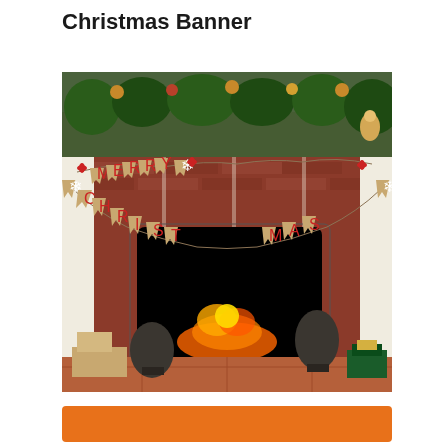Christmas Banner
[Figure (photo): A fireplace mantel decorated with a burlap 'Merry Christmas' banner with red letters and red bows, garland with lights on top, pine cone decorations and wrapped gifts on the sides.]
[Figure (other): Orange button at bottom of page]